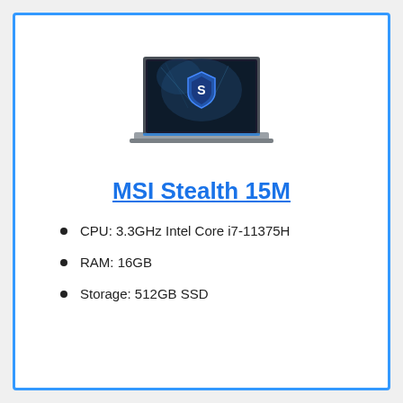[Figure (photo): MSI Stealth 15M gaming laptop with dark screen showing MSI dragon shield logo, open at an angle, viewed from the front]
MSI Stealth 15M
CPU: 3.3GHz Intel Core i7-11375H
RAM: 16GB
Storage: 512GB SSD